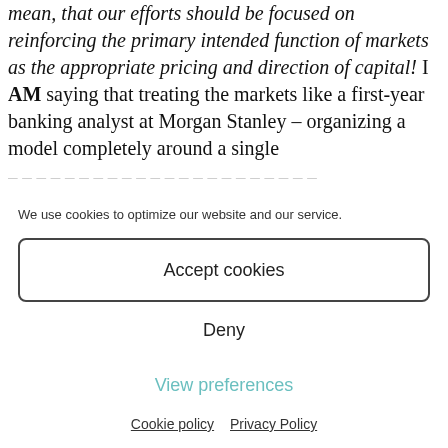mean, that our efforts should be focused on reinforcing the primary intended function of markets as the appropriate pricing and direction of capital! I AM saying that treating the markets like a first-year banking analyst at Morgan Stanley – organizing a model completely around a single
We use cookies to optimize our website and our service.
Accept cookies
Deny
View preferences
Cookie policy   Privacy Policy